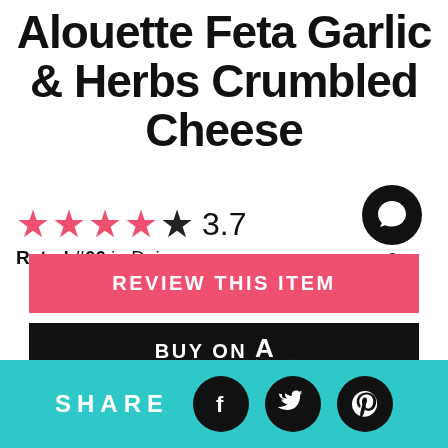Alouette Feta Garlic & Herbs Crumbled Cheese
★★★★★ 3.7
Rated #66 in Dairy
[Figure (infographic): Comment bubble icon (black circle with speech bubble) with count 6 below]
REVIEW THIS ITEM
BUY ON a (Amazon logo)
SHARE (with Facebook, Twitter, Pinterest icons)